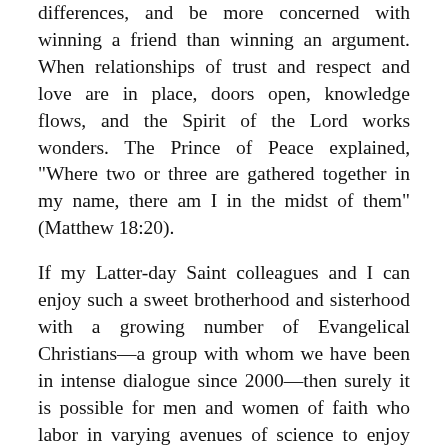differences, and be more concerned with winning a friend than winning an argument. When relationships of trust and respect and love are in place, doors open, knowledge flows, and the Spirit of the Lord works wonders. The Prince of Peace explained, "Where two or three are gathered together in my name, there am I in the midst of them" (Matthew 18:20).
If my Latter-day Saint colleagues and I can enjoy such a sweet brotherhood and sisterhood with a growing number of Evangelical Christians—a group with whom we have been in intense dialogue since 2000—then surely it is possible for men and women of faith who labor in varying avenues of science to enjoy cordial and collegial relationships with those involved in the study and teaching of religion, especially at Brigham Young University, the best of all worlds. Our epistemological thrusts may be different. Our presuppositions may be different. Our tests of validity and reliability may be different. But our hearts can be united as we strive to look beyond the dimensions of our disciplines toward higher goals. Some things we may and should reconcile here and now, while other matters may await further light and truth and additional discovery. "With an increasing body of facts," Elder John A. Widtsoe observed,
there must needs be a constant demand for reconciliation